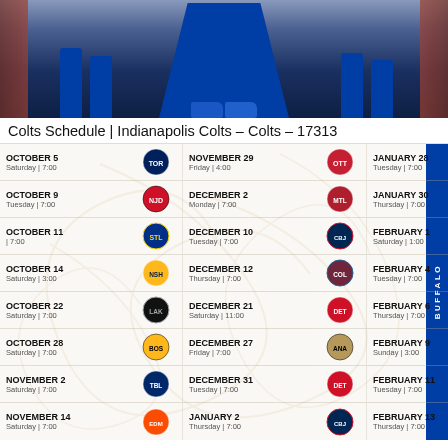[Figure (photo): Banner photo showing legs/feet of Indianapolis Colts players in blue uniforms and blue shoes standing on a blue runway/carpet]
Colts Schedule | Indianapolis Colts – Colts – 17313
| Date | Team | Date | Team | Date | Team |
| --- | --- | --- | --- | --- | --- |
| OCTOBER 5
Saturday | 7:00 | Toronto Maple Leafs | NOVEMBER 29
Friday | 4:00 | Ottawa Senators | JANUARY 28
Tuesday | 7:00 |  |
| OCTOBER 9
Tuesday | 7:00 | New Jersey Devils | DECEMBER 2
Monday | 7:00 | Montreal Canadiens | JANUARY 30
Thursday | 7:00 |  |
| OCTOBER 11
| 7:00 | St. Louis Blues | DECEMBER 10
Tuesday | 7:00 | Columbus Blue Jackets | FEBRUARY 1
Saturday | 1:00 |  |
| OCTOBER 14
Saturday | 3:00 | Nashville Predators | DECEMBER 12
Thursday | 7:00 | Colorado Avalanche | FEBRUARY 4
Tuesday | 7:00 |  |
| OCTOBER 22
Saturday | 7:00 | Los Angeles Kings | DECEMBER 21
Saturday | 11:00 | Detroit Red Wings | FEBRUARY 6
Thursday | 7:00 |  |
| OCTOBER 28
Saturday | 7:00 | Boston Bruins | DECEMBER 27
Friday | 7:00 | Anaheim Ducks | FEBRUARY 9
Sunday | 3:00 |  |
| NOVEMBER 2
Saturday | 7:00 | Tampa Bay Lightning | DECEMBER 31
Tuesday | 7:00 | Detroit Red Wings | FEBRUARY 11
Tuesday | 7:00 |  |
| NOVEMBER 14
Saturday | 7:00 | Edmonton Oilers | JANUARY 2
Thursday | 7:00 | Columbus Blue Jackets | FEBRUARY 13
Thursday | 7:00 |  |